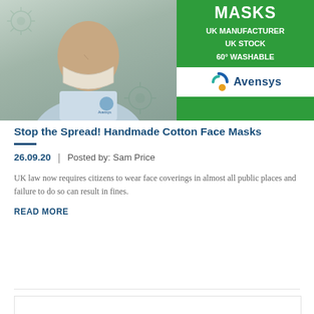[Figure (photo): Banner image showing a person wearing a face mask on the left (photo), and on the right a green promotional banner reading 'MASKS / UK MANUFACTURER / UK STOCK / 60° WASHABLE' with the Avensys logo below]
Stop the Spread! Handmade Cotton Face Masks
26.09.20  |  Posted by: Sam Price
UK law now requires citizens to wear face coverings in almost all public places and failure to do so can result in fines.
READ MORE